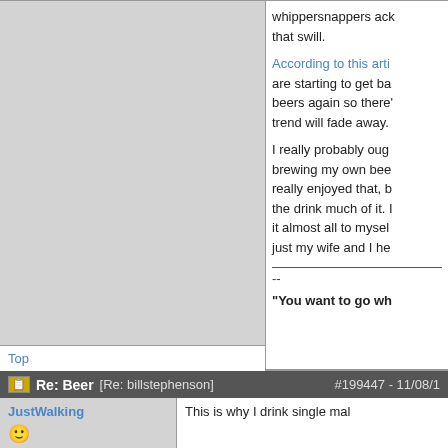whippersnappers ack... that swill.
According to this arti... are starting to get ba... beers again so there'... trend will fade away.
I really probably ough... brewing my own bee... really enjoyed that, b... the drink much of it. I... it almost all to myself... just my wife and I he...
--
"You want to go wh...
Top
Re: Beer [Re: billstephenson]  #199447 - 11/08/1...
JustWalking
member
This is why I drink single mal...